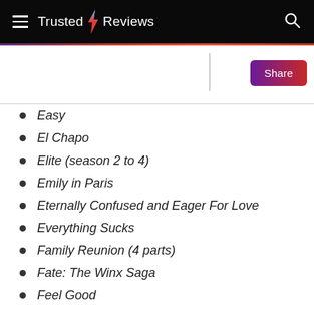Trusted Reviews
Easy
El Chapo
Elite (season 2 to 4)
Emily in Paris
Eternally Confused and Eager For Love
Everything Sucks
Family Reunion (4 parts)
Fate: The Winx Saga
Feel Good
Fire Chases
Firefly Lane
First Kill
Flinch
Formula 1: Drive to Survive